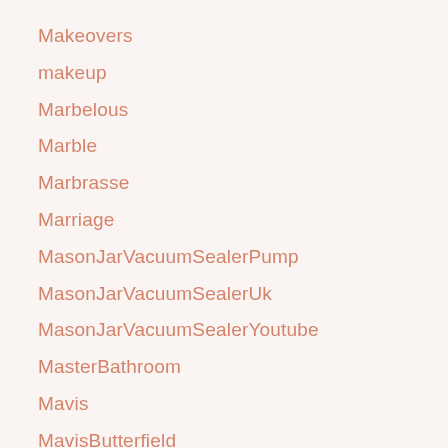Makeovers
makeup
Marbelous
Marble
Marbrasse
Marriage
MasonJarVacuumSealerPump
MasonJarVacuumSealerUk
MasonJarVacuumSealerYoutube
MasterBathroom
Mavis
MavisButterfield
MDesign
Melitta